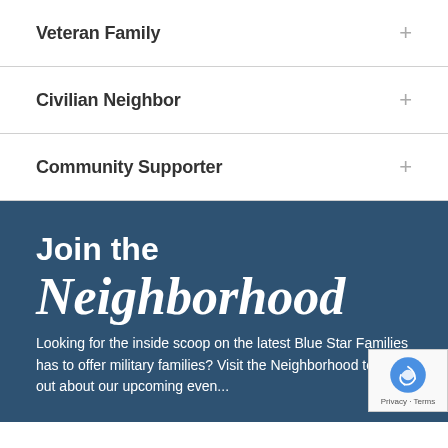Veteran Family +
Civilian Neighbor +
Community Supporter +
Join the Neighborhood
Looking for the inside scoop on the latest Blue Star Families has to offer military families? Visit the Neighborhood to find out about our upcoming events, …